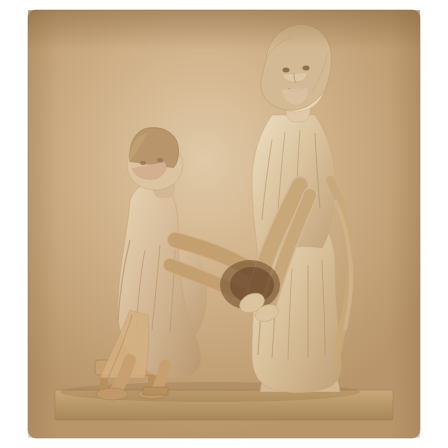[Figure (photo): Ancient Greek marble relief sculpture depicting a medical scene. A seated male patient (left) leans forward toward a standing draped female figure (right), who appears to be examining or treating the patient's abdomen or chest area. The patient is hunched, seated on a low stool, wearing a loose garment. The standing figure is taller, robed in classical Greek drapery, and bends slightly toward the patient with arms extended. The relief is carved in pale cream/tan marble with warm sandy tones. The background stone is rough-textured. The figures are rendered in high relief with careful anatomical detail. The composition is set on a rectangular stone slab with a base plinth.]